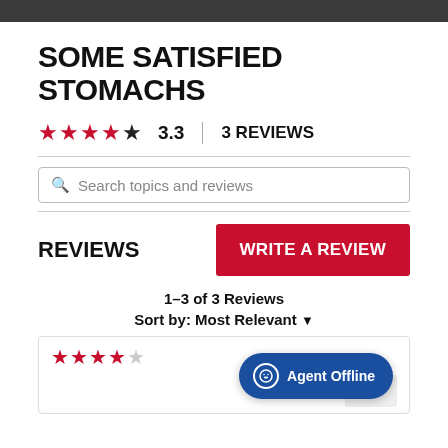SOME SATISFIED STOMACHS
★★★★☆ 3.3  |  3 REVIEWS
[Figure (screenshot): Search box with placeholder text 'Search topics and reviews']
REVIEWS
WRITE A REVIEW
1–3 of 3 Reviews
Sort by: Most Relevant ▼
[Figure (screenshot): Bottom review card showing 4 red stars and an Agent Offline chat badge]